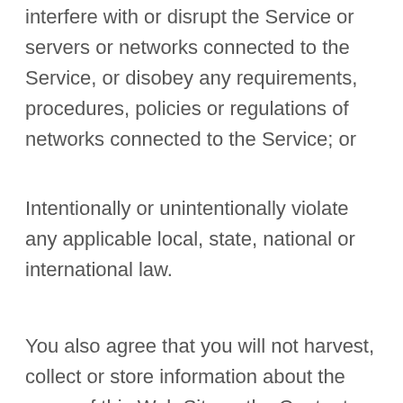interfere with or disrupt the Service or servers or networks connected to the Service, or disobey any requirements, procedures, policies or regulations of networks connected to the Service; or
Intentionally or unintentionally violate any applicable local, state, national or international law.
You also agree that you will not harvest, collect or store information about the users of this Web Site or the Content posted by them on this Web